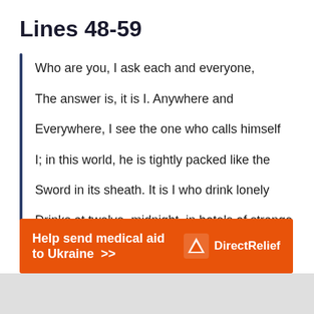Lines 48-59
Who are you, I ask each and everyone,
The answer is, it is I. Anywhere and
Everywhere, I see the one who calls himself
I; in this world, he is tightly packed like the
Sword in its sheath. It is I who drink lonely
Drinks at twelve, midnight, in hotels of strange
[Figure (infographic): Orange advertisement banner for Direct Relief: 'Help send medical aid to Ukraine >>' with Direct Relief logo on the right side.]